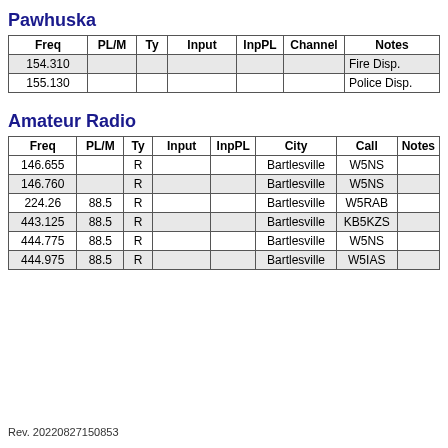Pawhuska
| Freq | PL/M | Ty | Input | InpPL | Channel | Notes |
| --- | --- | --- | --- | --- | --- | --- |
| 154.310 |  |  |  |  |  | Fire Disp. |
| 155.130 |  |  |  |  |  | Police Disp. |
Amateur Radio
| Freq | PL/M | Ty | Input | InpPL | City | Call | Notes |
| --- | --- | --- | --- | --- | --- | --- | --- |
| 146.655 |  | R |  |  | Bartlesville | W5NS |  |
| 146.760 |  | R |  |  | Bartlesville | W5NS |  |
| 224.26 | 88.5 | R |  |  | Bartlesville | W5RAB |  |
| 443.125 | 88.5 | R |  |  | Bartlesville | KB5KZS |  |
| 444.775 | 88.5 | R |  |  | Bartlesville | W5NS |  |
| 444.975 | 88.5 | R |  |  | Bartlesville | W5IAS |  |
Rev. 20220827150853